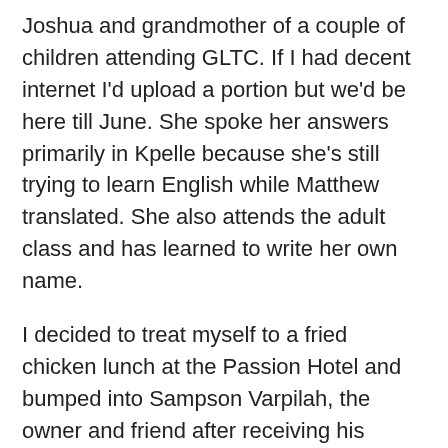Joshua and grandmother of a couple of children attending GLTC. If I had decent internet I'd upload a portion but we'd be here till June. She spoke her answers primarily in Kpelle because she's still trying to learn English while Matthew translated. She also attends the adult class and has learned to write her own name.
I decided to treat myself to a fried chicken lunch at the Passion Hotel and bumped into Sampson Varpilah, the owner and friend after receiving his assistance during my court experience back a couple of years ago when I received the writ of arrest in the land ownership dispute. He remembered our brief conversation in November about us starting a poultry farm…he had since started one, too! Mmmm, I thought he was going to buy some of our eggs for his hotel?!?!